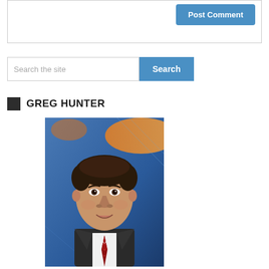[Figure (other): Comment text area box (partial, top of page)]
Post Comment
Search the site
Search
GREG HUNTER
[Figure (photo): Headshot of Greg Hunter, a man in a dark suit and red tie, with a blue/orange broadcast news background behind him.]